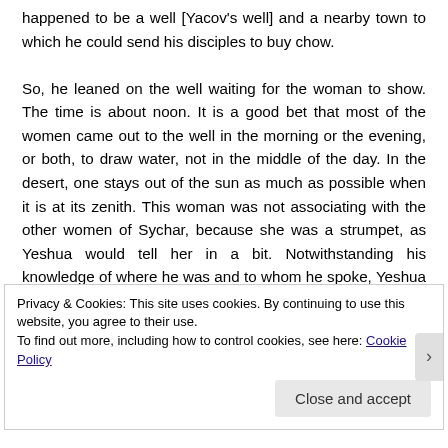happened to be a well [Yacov's well] and a nearby town to which he could send his disciples to buy chow.

So, he leaned on the well waiting for the woman to show. The time is about noon. It is a good bet that most of the women came out to the well in the morning or the evening, or both, to draw water, not in the middle of the day. In the desert, one stays out of the sun as much as possible when it is at its zenith. This woman was not associating with the other women of Sychar, because she was a strumpet, as Yeshua would tell her in a bit. Notwithstanding his knowledge of where he was and to whom he spoke, Yeshua asked her to give him a drink. Did he do this to initiate the conversation.
Privacy & Cookies: This site uses cookies. By continuing to use this website, you agree to their use.
To find out more, including how to control cookies, see here: Cookie Policy